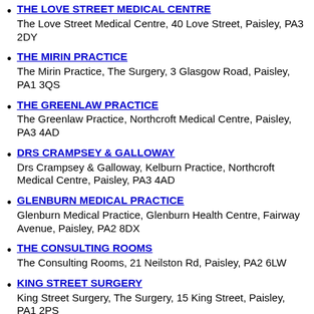THE LOVE STREET MEDICAL CENTRE
The Love Street Medical Centre, 40 Love Street, Paisley, PA3 2DY
THE MIRIN PRACTICE
The Mirin Practice, The Surgery, 3 Glasgow Road, Paisley, PA1 3QS
THE GREENLAW PRACTICE
The Greenlaw Practice, Northcroft Medical Centre, Paisley, PA3 4AD
DRS CRAMPSEY & GALLOWAY
Drs Crampsey & Galloway, Kelburn Practice, Northcroft Medical Centre, Paisley, PA3 4AD
GLENBURN MEDICAL PRACTICE
Glenburn Medical Practice, Glenburn Health Centre, Fairway Avenue, Paisley, PA2 8DX
THE CONSULTING ROOMS
The Consulting Rooms, 21 Neilston Rd, Paisley, PA2 6LW
KING STREET SURGERY
King Street Surgery, The Surgery, 15 King Street, Paisley, PA1 2PS
DR...